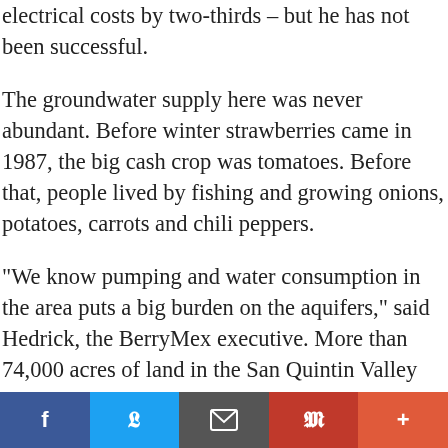electrical costs by two-thirds – but he has not been successful.
The groundwater supply here was never abundant. Before winter strawberries came in 1987, the big cash crop was tomatoes. Before that, people lived by fishing and growing onions, potatoes, carrots and chili peppers.
“We know pumping and water consumption in the area puts a big burden on the aquifers,” said Hedrick, the BerryMex executive. More than 74,000 acres of land in the San Quintin Valley had been devoted to the older version of local agriculture in the 1980s, he said. Now, with less water – and lower-quality water – available for the strawberry and tomato crops, the land under
f  🐦  ✉  p  +